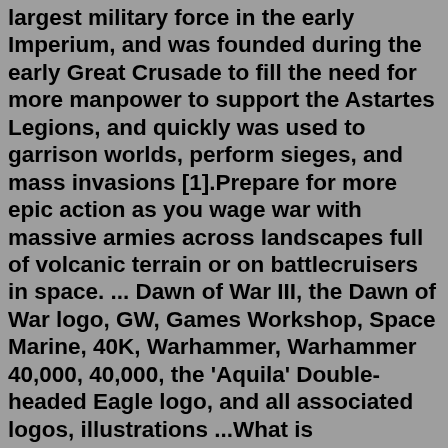largest military force in the early Imperium, and was founded during the early Great Crusade to fill the need for more manpower to support the Astartes Legions, and quickly was used to garrison worlds, perform sieges, and mass invasions [1].Prepare for more epic action as you wage war with massive armies across landscapes full of volcanic terrain or on battlecruisers in space. ... Dawn of War III, the Dawn of War logo, GW, Games Workshop, Space Marine, 40K, Warhammer, Warhammer 40,000, 40,000, the 'Aquila' Double-headed Eagle logo, and all associated logos, illustrations ...What is Warhammer Army Builder. Likes: 582. Shares: 291.Search: Warhammer 30k Reddit. For the first time, join the Eldar, Orks, Chaos or Space Marines, in the fiercest and most authentic Warhammer 40,000 battles ever realized in a massive online 3rd person shooter Her bones are interred at the Order of the Bleeding Heart 's abbey on the planet 5188x2800 - Video Game - Warhammer 40K May 19, 2020 - The u/Flashy-Environment community on Reddit The ...Building a 30K force (or